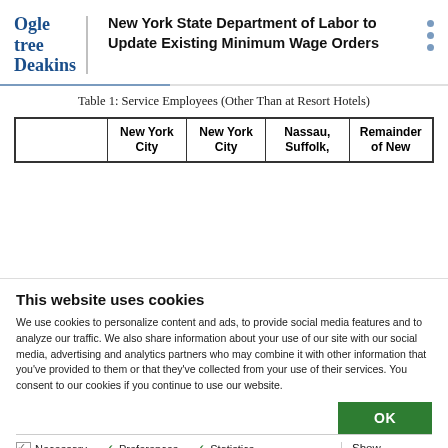Ogletree Deakins — New York State Department of Labor to Update Existing Minimum Wage Orders
Table 1: Service Employees (Other Than at Resort Hotels)
|  | New York City | New York City | Nassau, Suffolk, | Remainder of New |
| --- | --- | --- | --- | --- |
This website uses cookies
We use cookies to personalize content and ads, to provide social media features and to analyze our traffic. We also share information about your use of our site with our social media, advertising and analytics partners who may combine it with other information that you've provided to them or that they've collected from your use of their services. You consent to our cookies if you continue to use our website.
OK
Necessary  Preferences  Statistics  Marketing  Show details